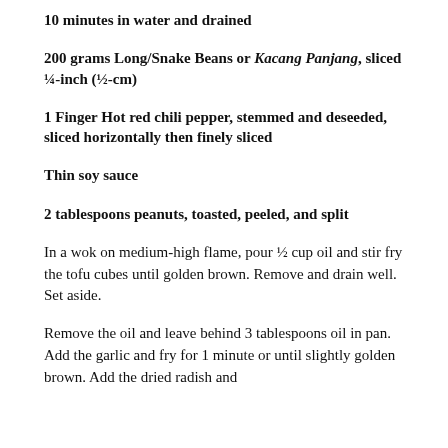10 minutes in water and drained
200 grams Long/Snake Beans or Kacang Panjang, sliced ¼-inch (½-cm)
1 Finger Hot red chili pepper, stemmed and deseeded, sliced horizontally then finely sliced
Thin soy sauce
2 tablespoons peanuts, toasted, peeled, and split
In a wok on medium-high flame, pour ½ cup oil and stir fry the tofu cubes until golden brown. Remove and drain well. Set aside.
Remove the oil and leave behind 3 tablespoons oil in pan. Add the garlic and fry for 1 minute or until slightly golden brown. Add the dried radish and